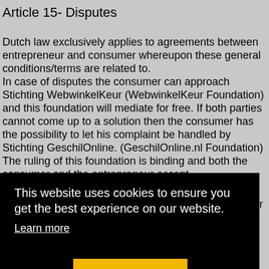Article 15- Disputes
Dutch law exclusively applies to agreements between entrepreneur and consumer whereupon these general conditions/terms are related to.
In case of disputes the consumer can approach Stichting WebwinkelKeur (WebwinkelKeur Foundation) and this foundation will mediate for free. If both parties cannot come up to a solution then the consumer has the possibility to let his complaint be handled by Stichting GeschilOnline. (GeschilOnline.nl Foundation) The ruling of this foundation is binding and both the consumer and the entrepreneur accept
This website uses cookies to ensure you get the best experience on our website.
Learn more
Decline   Allow cookies
eral
consumer
t the